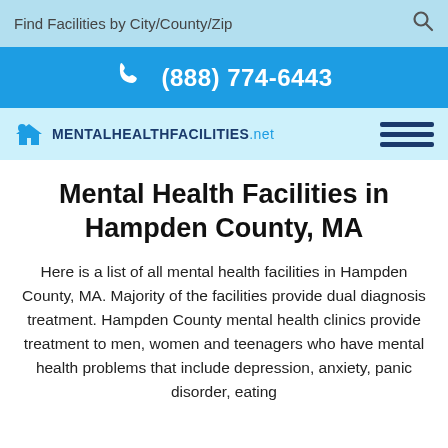Find Facilities by City/County/Zip
(888) 774-6443
[Figure (logo): MentalHealthFacilities.net logo with house icon]
Mental Health Facilities in Hampden County, MA
Here is a list of all mental health facilities in Hampden County, MA. Majority of the facilities provide dual diagnosis treatment. Hampden County mental health clinics provide treatment to men, women and teenagers who have mental health problems that include depression, anxiety, panic disorder, eating